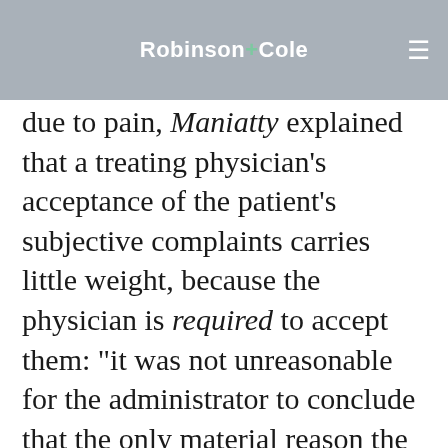Robinson+Cole [navigation bar with hamburger menu]
due to pain, Maniatty explained that a treating physician's acceptance of the patient's subjective complaints carries little weight, because the physician is required to accept them: “it was not unreasonable for the administrator to conclude that the only material reason the treating physicians were reaching their diagnoses was based on their acceptance of plaintiff’s subjective complaints: an acceptance more or less required of treating physicians, but by no means required of the administrator.”
The Seventh Circuit made this same point in Leipzig v. AIG Life Ins. Co., 362 F.3d 406, 409 (7th Cir. 2004): “Most of the time, physicians accept at face value what patients tell them about their symptoms; but insurers— must consider the